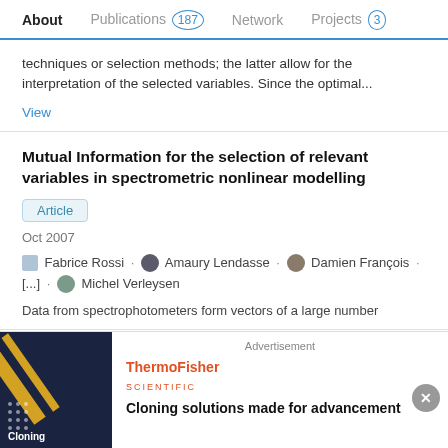About  Publications 187  Network  Projects 3
techniques or selection methods; the latter allow for the interpretation of the selected variables. Since the optimal...
View
Mutual Information for the selection of relevant variables in spectrometric nonlinear modelling
Article
Oct 2007
Fabrice Rossi · Amaury Lendasse · Damien François · [...] · Michel Verleysen
Data from spectrophotometers form vectors of a large number
[Figure (screenshot): Advertisement banner for ThermoFisher Scientific: dark blue image on left with diagonal yellow/gold stripes and 'Cloning' label; right side shows ThermoFisher Scientific logo and text 'Cloning solutions made for advancement']